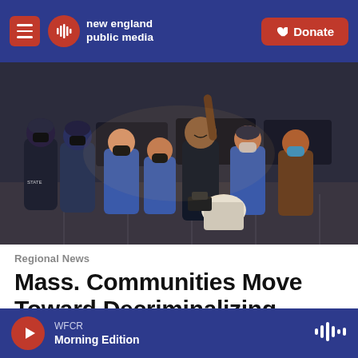new england public media | Donate
[Figure (photo): A woman with her fist raised smiling, surrounded by police officers in riot gear and blue uniforms wearing masks, standing in a parking lot at night.]
Regional News
Mass. Communities Move Toward Decriminalizing Psychedelics, With Some
WFCR | Morning Edition